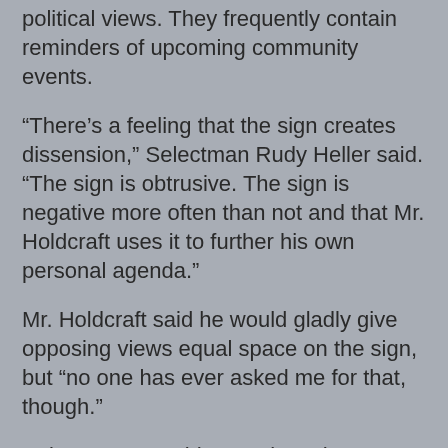political views. They frequently contain reminders of upcoming community events.
“There’s a feeling that the sign creates dissension,” Selectman Rudy Heller said. “The sign is obtrusive. The sign is negative more often than not and that Mr. Holdcraft uses it to further his own personal agenda.”
Mr. Holdcraft said he would gladly give opposing views equal space on the sign, but “no one has ever asked me for that, though.”
Selectman Ronald J. Dackson has a different view from Mr. Heller and Mr. Allen.
“I have no problem with the sign,” Mr. Dackson said. “Anybody can express their opinion.”
“He puts a lot of things there,” he said. “The town meetings, the Christmas celebrations and Halloween activities.”
Asked whether residents had complained to him about the sign, Mr. Holdcraft’s sign, Mr. Dackson said “I do recall...